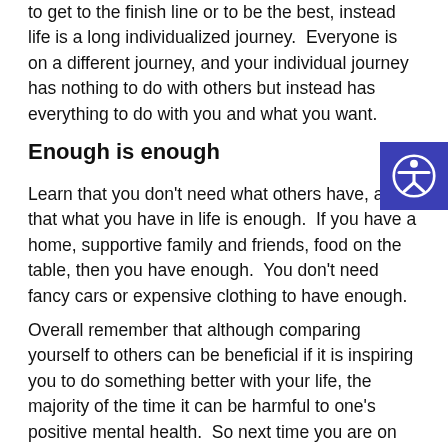to get to the finish line or to be the best, instead life is a long individualized journey.  Everyone is on a different journey, and your individual journey has nothing to do with others but instead has everything to do with you and what you want.
Enough is enough
Learn that you don't need what others have, and that what you have in life is enough.  If you have a home, supportive family and friends, food on the table, then you have enough.  You don't need fancy cars or expensive clothing to have enough.
Overall remember that although comparing yourself to others can be beneficial if it is inspiring you to do something better with your life, the majority of the time it can be harmful to one's positive mental health.  So next time you are on social media try and notice when you are comparing yourself to others and start to